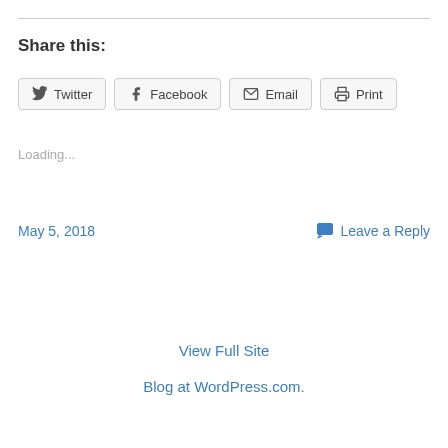Share this:
Twitter  Facebook  Email  Print
Loading...
May 5, 2018
Leave a Reply
View Full Site
Blog at WordPress.com.